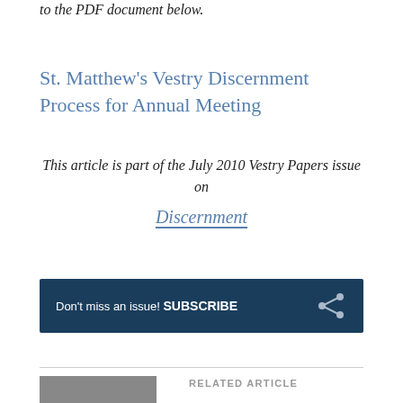to the PDF document below.
St. Matthew's Vestry Discernment Process for Annual Meeting
This article is part of the July 2010 Vestry Papers issue on Discernment
[Figure (infographic): Dark blue subscription call-to-action bar reading 'Don't miss an issue! SUBSCRIBE' with a share icon on the right]
RELATED ARTICLE